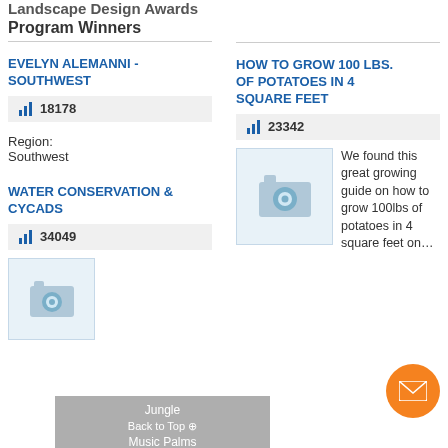Landscape Design Awards Program Winners
EVELYN ALEMANNI - SOUTHWEST
18178
[Figure (photo): Portrait photo of Evelyn Alemanni, a woman with short hair, smiling]
Region: Southwest
HOW TO GROW 100 LBS. OF POTATOES IN 4 SQUARE FEET
23342
[Figure (photo): Placeholder camera icon image]
We found this great growing guide on how to grow 100lbs of potatoes in 4 square feet on…
WATER CONSERVATION & CYCADS
34049
[Figure (photo): Placeholder camera icon image for Water Conservation & Cycads article]
Jungle Music Palms and Cycads